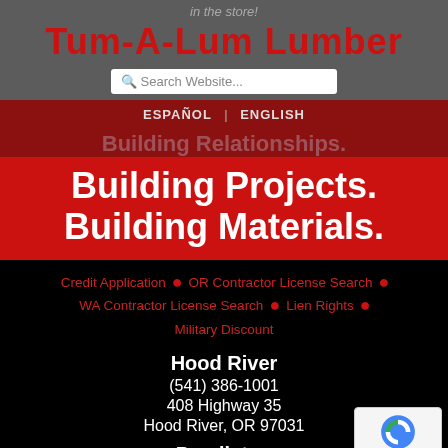in the store!
Tum-A-Lum Lumber
Search Website...
ESPAÑOL | ENGLISH
Building Relationships.
Building Projects. Building Materials.
Credit Application
OR Contractor License Search
WA Contractor License Search
Lien Rights
Military Discount
Hood River
(541) 386-1001
408 Highway 35
Hood River, OR 97031
Pendleton